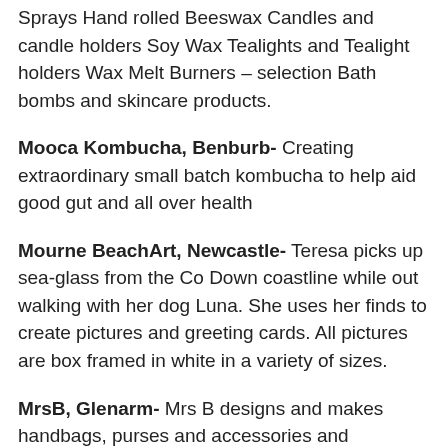Sprays Hand rolled Beeswax Candles and candle holders Soy Wax Tealights and Tealight holders Wax Melt Burners – selection Bath bombs and skincare products.
Mooca Kombucha, Benburb- Creating extraordinary small batch kombucha to help aid good gut and all over health
Mourne BeachArt, Newcastle- Teresa picks up sea-glass from the Co Down coastline while out walking with her dog Luna. She uses her finds to create pictures and greeting cards. All pictures are box framed in white in a variety of sizes.
MrsB, Glenarm- Mrs B designs and makes handbags, purses and accessories and occasionally cushions from British and Irish wool, including Harris Tweed and Donegal Tweed
Nitted Things, Fintona- Knitted animals and